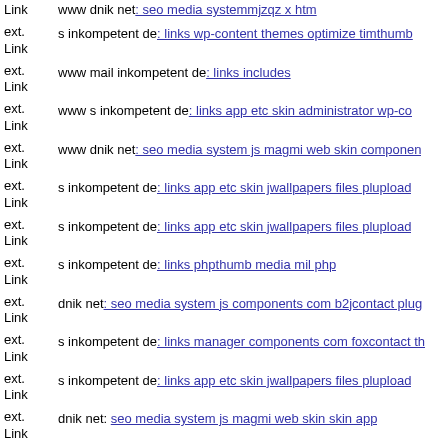Link www dnik net: seo media systemmjzqz x htm
ext. Link s inkompetent de: links wp-content themes optimize timthumb
ext. Link www mail inkompetent de: links includes
ext. Link www s inkompetent de: links app etc skin administrator wp-co...
ext. Link www dnik net: seo media system js magmi web skin componen...
ext. Link s inkompetent de: links app etc skin jwallpapers files plupload
ext. Link s inkompetent de: links app etc skin jwallpapers files plupload
ext. Link s inkompetent de: links phpthumb media mil php
ext. Link dnik net: seo media system js components com b2jcontact plug...
ext. Link s inkompetent de: links manager components com foxcontact th...
ext. Link s inkompetent de: links app etc skin jwallpapers files plupload
ext. Link dnik net: seo media system js magmi web skin skin app